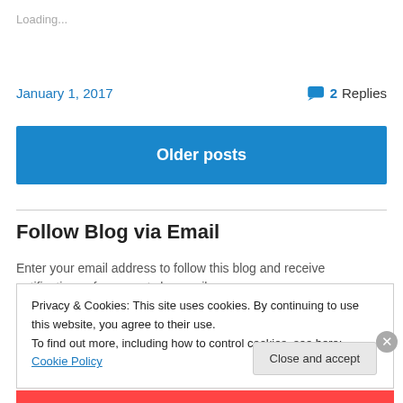Loading...
January 1, 2017
2 Replies
Older posts
Follow Blog via Email
Enter your email address to follow this blog and receive notifications of new posts by email.
Privacy & Cookies: This site uses cookies. By continuing to use this website, you agree to their use.
To find out more, including how to control cookies, see here: Cookie Policy
Close and accept